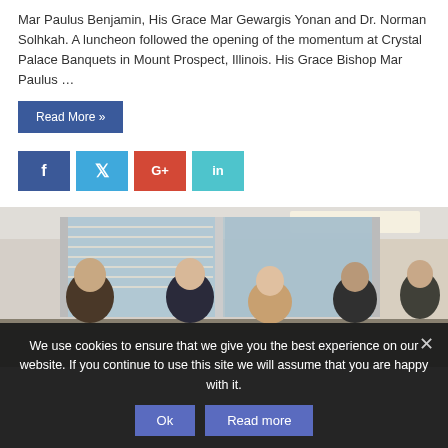Mar Paulus Benjamin, His Grace Mar Gewargis Yonan and Dr. Norman Solhkah. A luncheon followed the opening of the momentum at Crystal Palace Banquets in Mount Prospect, Illinois. His Grace Bishop Mar Paulus …
Read More »
[Figure (other): Social media share buttons: Facebook (f), Twitter (bird icon), Google+ (G+), LinkedIn (in)]
[Figure (photo): Group photo of five people (clergy and others) standing indoors in front of windows in an office setting.]
We use cookies to ensure that we give you the best experience on our website. If you continue to use this site we will assume that you are happy with it.
Ok
Read more